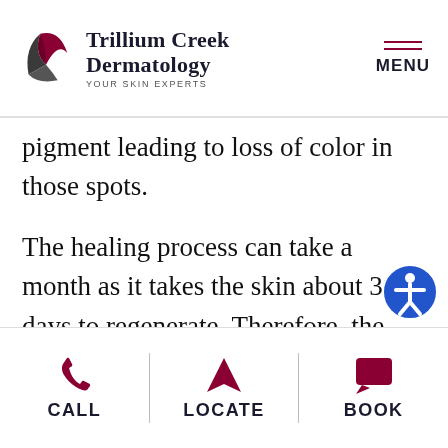Trillium Creek Dermatology — YOUR SKIN EXPERTS | MENU
pigment leading to loss of color in those spots.
The healing process can take a month as it takes the skin about 30 days to regenerate. Therefore, the 30-day mark is when the true color will show itself. A touch-up appointment is needed 6 weeks after the initial appointment to make any adjustments.
CALL | LOCATE | BOOK